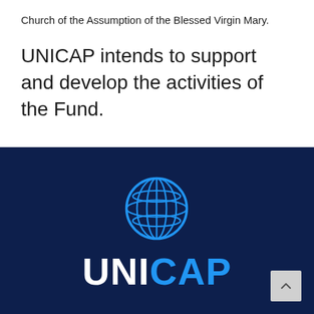Church of the Assumption of the Blessed Virgin Mary.
UNICAP intends to support and develop the activities of the Fund.
[Figure (logo): UNICAP logo on dark navy background: globe icon in blue followed by stylized 'UNICAP' text in white and blue]